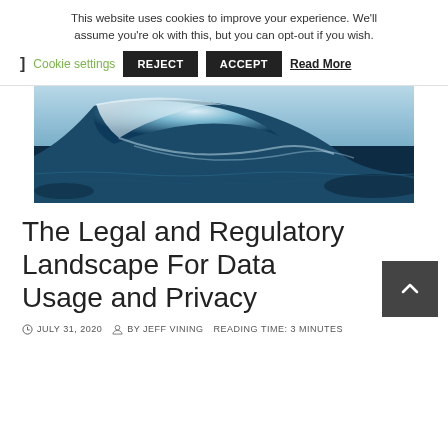This website uses cookies to improve your experience. We'll assume you're ok with this, but you can opt-out if you wish.
Cookie settings  REJECT  ACCEPT  Read More
[Figure (photo): Ocean wave curling, aerial view, blue water with white foam, dark navy tones]
The Legal and Regulatory Landscape For Data Usage and Privacy
JULY 31, 2020  BY JEFF VINING  READING TIME: 3 MINUTES